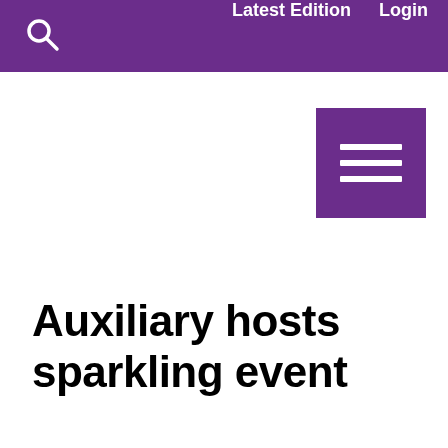Latest Edition  Login
[Figure (other): Purple hamburger menu button with three white horizontal lines]
Auxiliary hosts sparkling event